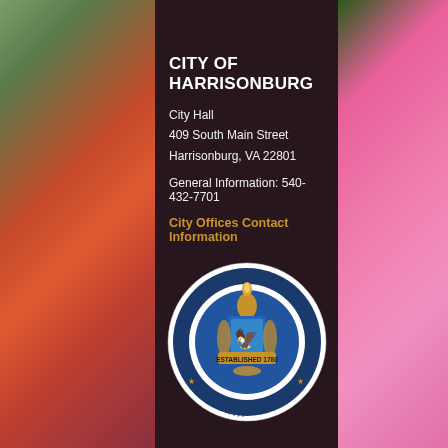[Figure (photo): Background photo of pink coneflowers/echinacea with green foliage, visible on left and right sides behind a dark overlay panel]
CITY OF HARRISONBURG
City Hall
409 South Main Street
Harrisonburg, VA 22801
General Information: 540-432-7701
City Offices Contact Information
[Figure (logo): City of Harrisonburg Virginia official seal — circular seal with text 'CITY OF HARRISONBURG' around the top and 'VIRGINIA' at the bottom, featuring a coat of arms with a torch-bearing figure, eagle, and 'ESTABLISHED 1780' banner, with five-pointed stars]